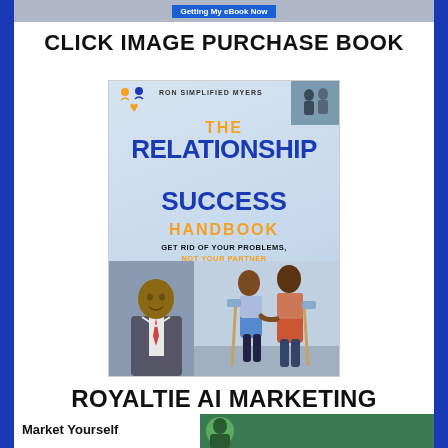Getting My eBook Now
CLICK IMAGE PURCHASE BOOK
[Figure (photo): Book cover of 'The Relationship Success Handbook' by Ron Simplified Myers. Subtitle: Get Rid of Your Problems, NOT Your Partner. Features icons, author photos, a man in a suit, and a couple holding painting tools.]
ROYALTIE AI MARKETING
Market Yourself